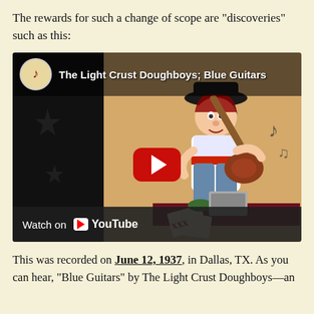The rewards for such a change of scope are "discoveries" such as this:
[Figure (screenshot): YouTube video thumbnail for 'The Light Crust Doughboys; Blue Guitars' showing a cartoon character playing guitar with stars and musical notes, with a red play button in the center and a 'Watch on YouTube' bar at the bottom.]
This was recorded on June 12, 1937, in Dallas, TX. As you can hear, "Blue Guitars" by The Light Crust Doughboys—an